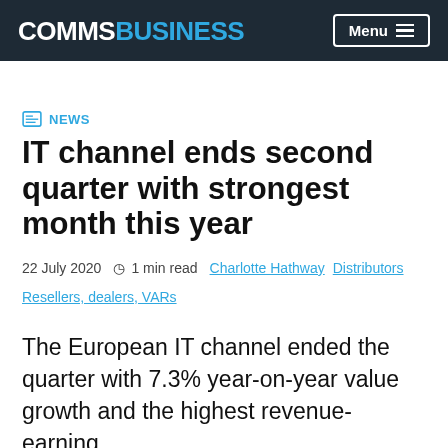COMMSBUSINESS | Menu
NEWS
IT channel ends second quarter with strongest month this year
22 July 2020  1 min read  Charlotte Hathway  Distributors  Resellers, dealers, VARs
The European IT channel ended the quarter with 7.3% year-on-year value growth and the highest revenue-earning